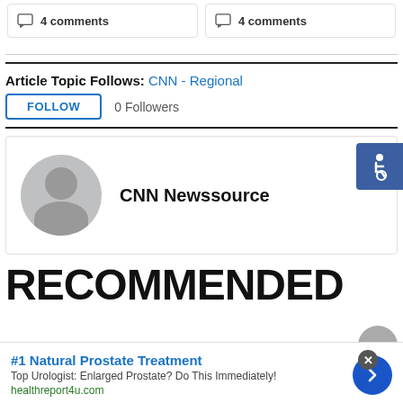4 comments
4 comments
Article Topic Follows: CNN - Regional
FOLLOW  0 Followers
[Figure (illustration): Accessibility icon — white wheelchair symbol on blue/indigo background]
[Figure (illustration): CNN Newssource author profile card with grey silhouette avatar and bold name text]
RECOMMENDED
#1 Natural Prostate Treatment
Top Urologist: Enlarged Prostate? Do This Immediately!
healthreport4u.com